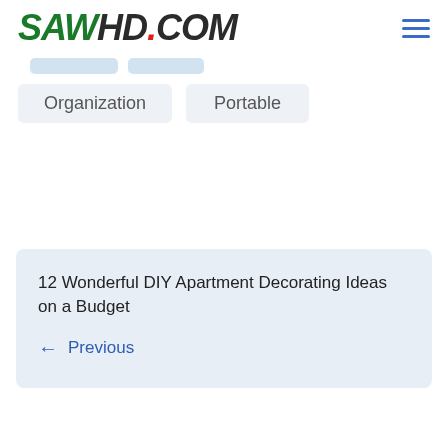SAWHD.COM
Organization   Portable
12 Wonderful DIY Apartment Decorating Ideas on a Budget
← Previous